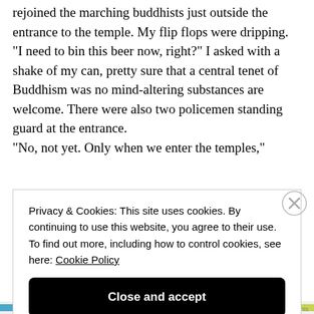We emerged through some dense shrubbery and rejoined the marching buddhists just outside the entrance to the temple. My flip flops were dripping.
"I need to bin this beer now, right?" I asked with a shake of my can, pretty sure that a central tenet of Buddhism was no mind-altering substances are welcome. There were also two policemen standing guard at the entrance.
"No, not yet. Only when we enter the temples,"
Privacy & Cookies: This site uses cookies. By continuing to use this website, you agree to their use. To find out more, including how to control cookies, see here: Cookie Policy
Close and accept